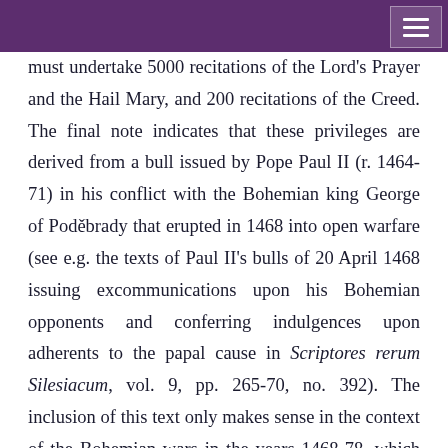must undertake 5000 recitations of the Lord's Prayer and the Hail Mary, and 200 recitations of the Creed. The final note indicates that these privileges are derived from a bull issued by Pope Paul II (r. 1464-71) in his conflict with the Bohemian king George of Poděbrady that erupted in 1468 into open warfare (see e.g. the texts of Paul II's bulls of 20 April 1468 issuing excommunications upon his Bohemian opponents and conferring indulgences upon adherents to the papal cause in Scriptores rerum Silesiacum, vol. 9, pp. 265-70, no. 392). The inclusion of this text only makes sense in the context of the Bohemian wars in the years 1468-78, which provides an important